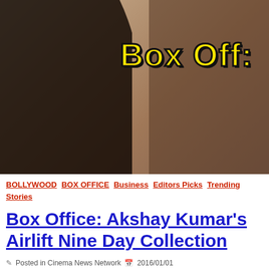[Figure (photo): Movie promotional image showing a woman with long curly dark hair in a black outfit on the left, and a bearded man in a brown shirt and jacket on the right; overlaid with bold yellow 'Box Off...' text with black outline]
BOLLYWOOD BOX OFFICE Business Editors Picks Trending Stories
Box Office: Akshay Kumar's Airlift Nine Day Collection
Posted in [Cinema News Network] 2016/01/01